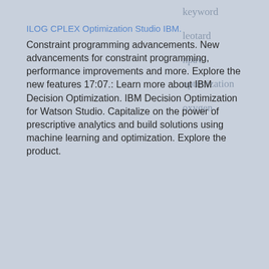keyword
leotard
npav
optimization
oxygen
ILOG CPLEX Optimization Studio IBM.
Constraint programming advancements. New advancements for constraint programming, performance improvements and more. Explore the new features 17:07.: Learn more about IBM Decision Optimization. IBM Decision Optimization for Watson Studio. Capitalize on the power of prescriptive analytics and build solutions using machine learning and optimization. Explore the product.
[Figure (screenshot): Screenshot of WordStream website showing 'SEO Optimization - Learn to Optimize for SEO' page with navigation menu, body text, and sidebar.]